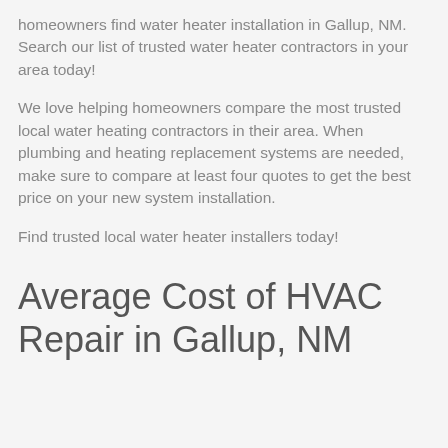homeowners find water heater installation in Gallup, NM. Search our list of trusted water heater contractors in your area today!
We love helping homeowners compare the most trusted local water heating contractors in their area. When plumbing and heating replacement systems are needed, make sure to compare at least four quotes to get the best price on your new system installation.
Find trusted local water heater installers today!
Average Cost of HVAC Repair in Gallup, NM